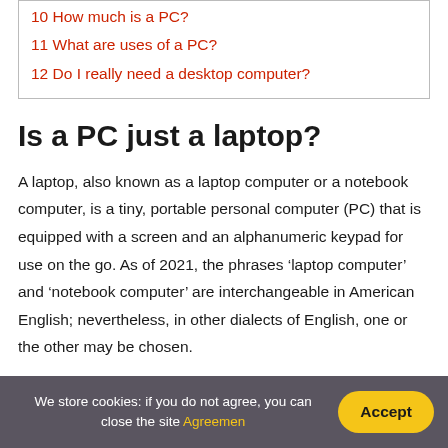10 How much is a PC?
11 What are uses of a PC?
12 Do I really need a desktop computer?
Is a PC just a laptop?
A laptop, also known as a laptop computer or a notebook computer, is a tiny, portable personal computer (PC) that is equipped with a screen and an alphanumeric keypad for use on the go. As of 2021, the phrases ‘laptop computer’ and ‘notebook computer’ are interchangeable in American English; nevertheless, in other dialects of English, one or the other may be chosen.
We store cookies: if you do not agree, you can close the site Agreemen